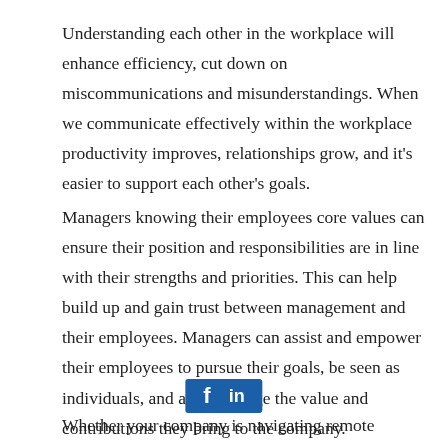Understanding each other in the workplace will enhance efficiency, cut down on miscommunications and misunderstandings. When we communicate effectively within the workplace productivity improves, relationships grow, and it's easier to support each other's goals.
Managers knowing their employees core values can ensure their position and responsibilities are in line with their strengths and priorities. This can help build up and gain trust between management and their employees. Managers can assist and empower their employees to pursue their goals, be seen as individuals, and acknowledge the value and contributions they bring to the company.
[Figure (other): Social media sharing bar with Facebook (f) and LinkedIn (in) icons on a blue background]
Whether your company is navigating remote employment,